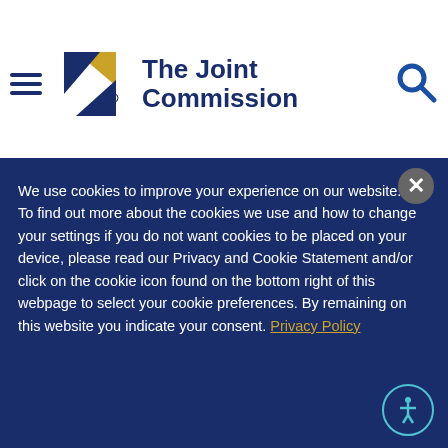[Figure (logo): The Joint Commission logo with geometric diamond shapes in gold and navy, hamburger menu icon on left, search icon on right]
[Figure (screenshot): Search bar with placeholder text 'Search this site.' and blue search button]
active role in their care and be open and honest about symptoms, what to
We use cookies to improve your experience on our website. To find out more about the cookies we use and how to change your settings if you do not want cookies to be placed on your device, please read our Privacy and Cookie Statement and/or click on the cookie icon found on the bottom right of this webpage to select your cookie preferences. By remaining on this website you indicate your consent. Privacy Policy